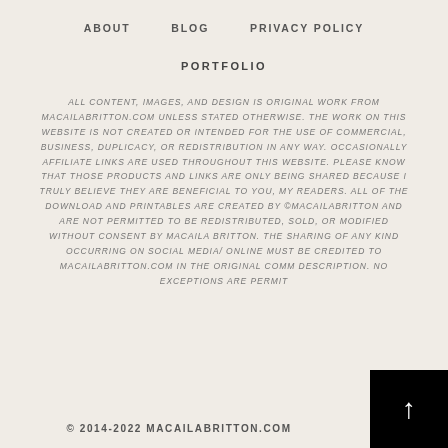ABOUT   BLOG   PRIVACY POLICY
PORTFOLIO
ALL CONTENT, IMAGES, AND DESIGN IS ORIGINAL WORK FROM MACAILABRITTON.COM UNLESS STATED OTHERWISE. THE WORK ON THIS WEBSITE IS NOT CREATED OR INTENDED FOR THE USE OF COMMERCIAL, BUSINESS, DUPLICACY, OR REDISTRIBUTION IN ANY WAY. OCCASIONALLY AFFILIATE LINKS ARE USED THROUGHOUT THIS WEBSITE. PLEASE KNOW THAT THOSE PRODUCTS AND LINKS ARE ONLY BEING SHARED BECAUSE I TRULY BELIEVE THEY ARE BENEFICIAL TO YOU, MY READERS. ALL OF THE DOWNLOAD AND PRINTABLES ARE CREATED BY ©MACAILABRITTON AND ARE NOT PERMITTED TO BE REDISTRIBUTED, SOLD, OR MODIFIED WITHOUT CONSENT BY MACAILA BRITTON. THE SHARING OF ANY KIND OCCURRING ON SOCIAL MEDIA/ ONLINE MUST BE CREDITED TO MACAILABRITTON.COM IN THE ORIGINAL COMM DESCRIPTION. NO EXCEPTIONS ARE PERMIT
© 2014-2022 MACAILABRITTON.COM